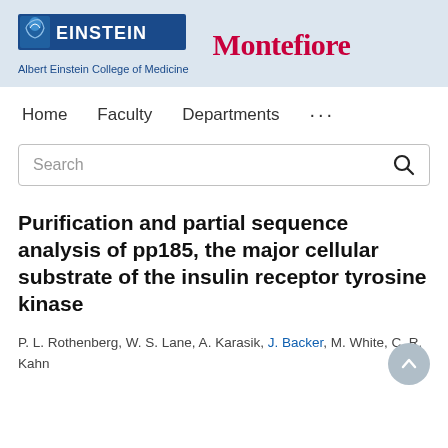[Figure (logo): Albert Einstein College of Medicine and Montefiore logos in header banner]
Home   Faculty   Departments   ...
Search
Purification and partial sequence analysis of pp185, the major cellular substrate of the insulin receptor tyrosine kinase
P. L. Rothenberg, W. S. Lane, A. Karasik, J. Backer, M. White, C. R. Kahn